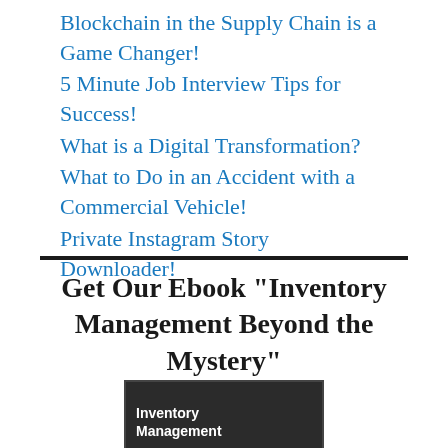Blockchain in the Supply Chain is a Game Changer!
5 Minute Job Interview Tips for Success!
What is a Digital Transformation?
What to Do in an Accident with a Commercial Vehicle!
Private Instagram Story Downloader!
Get Our Ebook "Inventory Management Beyond the Mystery"
[Figure (photo): Book cover image showing 'Inventory Management' text on a dark background]